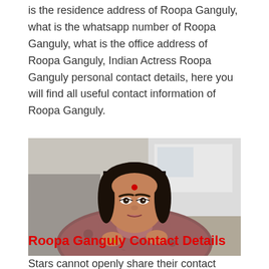is the residence address of Roopa Ganguly, what is the whatsapp number of Roopa Ganguly, what is the office address of Roopa Ganguly, Indian Actress Roopa Ganguly personal contact details, here you will find all useful contact information of Roopa Ganguly.
[Figure (photo): Photo of Roopa Ganguly, an Indian woman wearing a floral dupatta/shawl, with a red bindi on her forehead, dark hair pulled back, holding the dupatta with both hands, with a white vehicle in the background.]
Roopa Ganguly Contact Details
Stars cannot openly share their contact details etc. due to